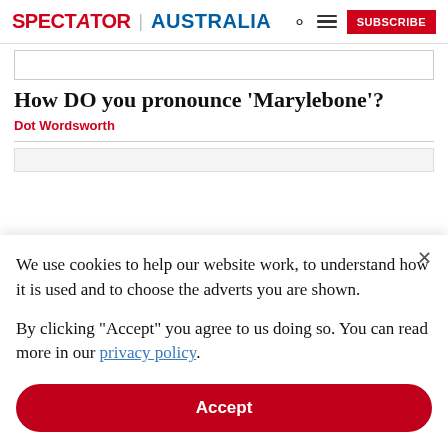SPECTATOR | AUSTRALIA
How DO you pronounce 'Marylebone'?
Dot Wordsworth
We use cookies to help our website work, to understand how it is used and to choose the adverts you are shown.
By clicking "Accept" you agree to us doing so. You can read more in our privacy policy.
Accept